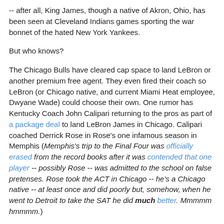-- after all, King James, though a native of Akron, Ohio, has been seen at Cleveland Indians games sporting the war bonnet of the hated New York Yankees.
But who knows?
The Chicago Bulls have cleared cap space to land LeBron or another premium free agent. They even fired their coach so LeBron (or Chicago native, and current Miami Heat employee, Dwyane Wade) could choose their own. One rumor has Kentucky Coach John Calipari returning to the pros as part of a package deal to land LeBron James in Chicago. Calipari coached Derrick Rose in Rose's one infamous season in Memphis (Memphis's trip to the Final Four was officially erased from the record books after it was contended that one player -- possibly Rose -- was admitted to the school on false pretenses. Rose took the ACT in Chicago -- he's a Chicago native -- at least once and did poorly but, somehow, when he went to Detroit to take the SAT he did much better. Mmmmm hmmmm.)
Young Mr. Rose is quite talented. After his one-and-done at